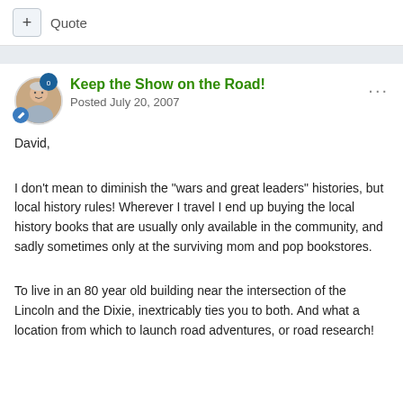+ Quote
Keep the Show on the Road!
Posted July 20, 2007
David,
I don't mean to diminish the “wars and great leaders” histories, but local history rules! Wherever I travel I end up buying the local history books that are usually only available in the community, and sadly sometimes only at the surviving mom and pop bookstores.
To live in an 80 year old building near the intersection of the Lincoln and the Dixie, inextricably ties you to both. And what a location from which to launch road adventures, or road research!